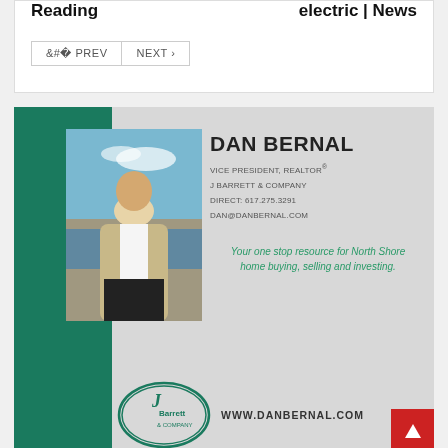Reading
electric | News
< PREV   NEXT >
[Figure (photo): Advertisement for Dan Bernal, Vice President Realtor at J Barrett & Company. Features a photo of a man in a blazer outdoors, green left panel, contact info, tagline 'Your one stop resource for North Shore home buying, selling and investing.', J Barrett & Company logo, and website www.danbernal.com]